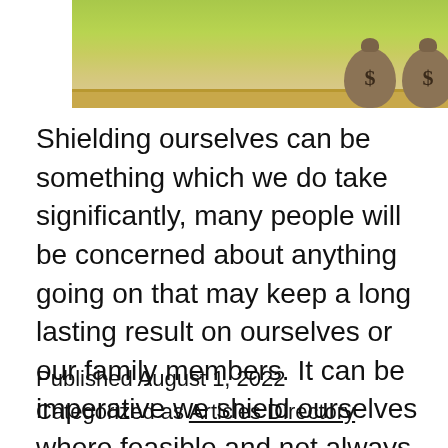[Figure (photo): Photo of two burlap money bags with dollar signs on a wooden shelf with a green blurred background]
Shielding ourselves can be something which we do take significantly, many people will be concerned about anything going on that may keep a long lasting result on ourselves or our family members. It can be imperative we shield ourselves where feasible and not always because it's what the law states to achieve this. Around we… Continue reading
Published August 1, 2022
Categorized as Articles Directory